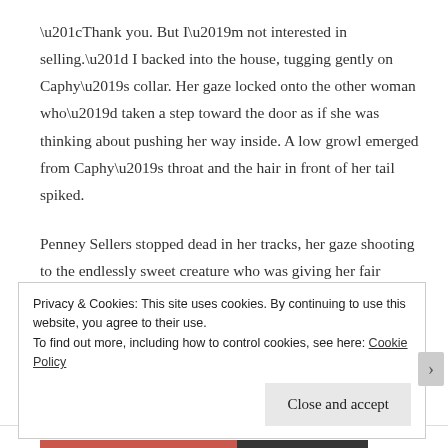“Thank you. But I’m not interested in selling.” I backed into the house, tugging gently on Caphy’s collar. Her gaze locked onto the other woman who’d taken a step toward the door as if she was thinking about pushing her way inside. A low growl emerged from Caphy’s throat and the hair in front of her tail spiked.

Penney Sellers stopped dead in her tracks, her gaze shooting to the endlessly sweet creature who was giving her fair warning.
Privacy & Cookies: This site uses cookies. By continuing to use this website, you agree to their use.
To find out more, including how to control cookies, see here: Cookie Policy